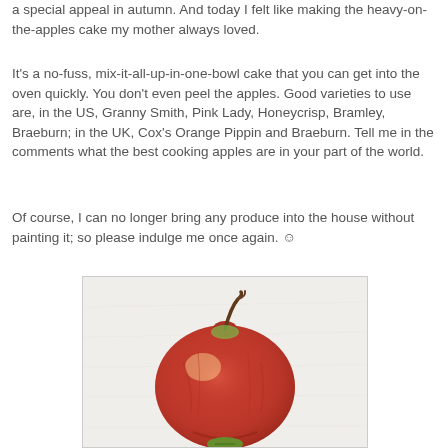a special appeal in autumn. And today I felt like making the heavy-on-the-apples cake my mother always loved.
It's a no-fuss, mix-it-all-up-in-one-bowl cake that you can get into the oven quickly. You don't even peel the apples. Good varieties to use are, in the US, Granny Smith, Pink Lady, Honeycrisp, Bramley, Braeburn; in the UK, Cox's Orange Pippin and Braeburn. Tell me in the comments what the best cooking apples are in your part of the world.
Of course, I can no longer bring any produce into the house without painting it; so please indulge me once again. ☺
[Figure (illustration): Watercolor-style illustration of a red apple with a brown stem and a green leaf at the base, painted on a light textured background.]